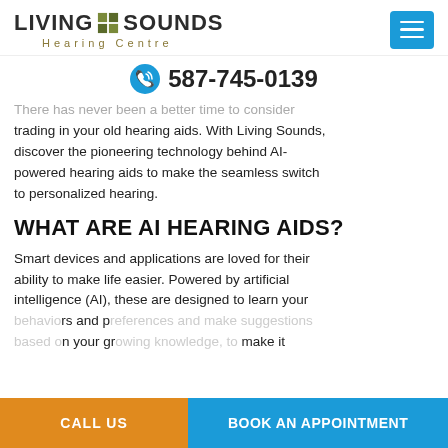[Figure (logo): Living Sounds Hearing Centre logo with grid icon and menu button]
587-745-0139
There has never been a better time to consider trading in your old hearing aids. With Living Sounds, discover the pioneering technology behind AI-powered hearing aids to make the seamless switch to personalized hearing.
WHAT ARE AI HEARING AIDS?
Smart devices and applications are loved for their ability to make life easier. Powered by artificial intelligence (AI), these are designed to learn your behaviors and preferences and make suggestions based on your growing knowledge, to make it
CALL US
BOOK AN APPOINTMENT